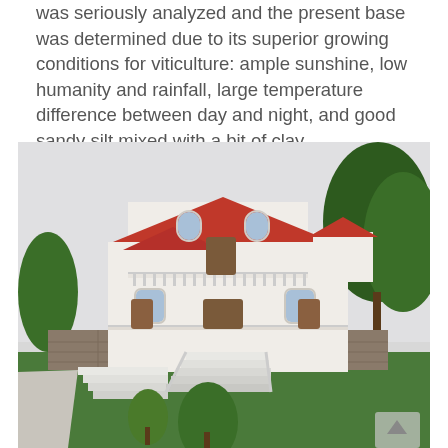was seriously analyzed and the present base was determined due to its superior growing conditions for viticulture: ample sunshine, low humanity and rainfall, large temperature difference between day and night, and good sandy silt mixed with a bit of clay.
[Figure (photo): Exterior photo of a white multi-story villa/mansion with a red tiled roof, white classical balustrade railings, arched windows, wooden doors, stone foundation walls, white exterior staircases, surrounded by green trees and lawn, overcast sky.]